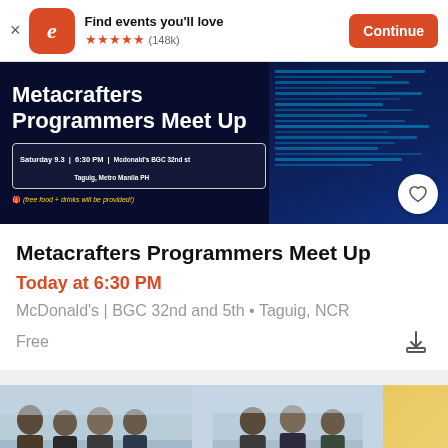[Figure (screenshot): Eventbrite app banner with icon, tagline 'Find events you'll love', 5 star rating (148k reviews), and Continue button]
[Figure (photo): Metacrafters Programmers Meet Up event banner on dark blue background with code imagery. Saturday 9.3 | 6:30 PM | Mcdonald's BGC 32nd st Taguig, Metro Manila PH. Free food + drinks will be provided!]
Metacrafters Programmers Meet Up
Today at 6:30 PM
McDonald's | BGC 32nd and 5th • Taguig, NCR
Free
[Figure (photo): Group photo of people at a meetup event]